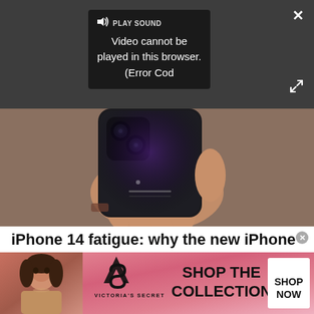[Figure (screenshot): Video player overlay on dark background showing error message popup: 'PLAY SOUND Video cannot be played in this browser. (Error Cod' with speaker icon, close X button and expand button]
[Figure (photo): Person's hand holding a dark iPhone face-down showing the back camera, with brick wall in background]
iPhone 14 fatigue: why the new iPhone isn't 2022's most exciting handset
The iPhone 14 may be the biggest phone coming at the end of the year, but it's certainly not the most exciting.
TechRadar
[Figure (photo): Victoria's Secret advertisement banner with pink background, model on left, VS logo and brand name in center, 'SHOP THE COLLECTION' text, and white 'SHOP NOW' button on right]